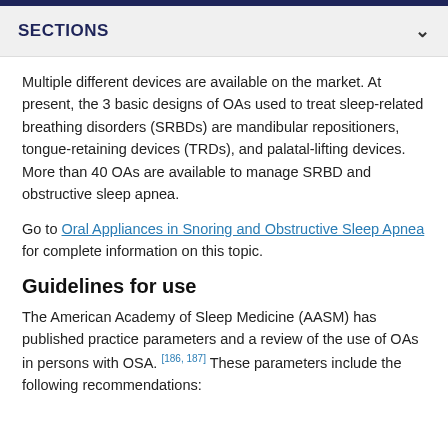SECTIONS
Multiple different devices are available on the market. At present, the 3 basic designs of OAs used to treat sleep-related breathing disorders (SRBDs) are mandibular repositioners, tongue-retaining devices (TRDs), and palatal-lifting devices. More than 40 OAs are available to manage SRBD and obstructive sleep apnea.
Go to Oral Appliances in Snoring and Obstructive Sleep Apnea for complete information on this topic.
Guidelines for use
The American Academy of Sleep Medicine (AASM) has published practice parameters and a review of the use of OAs in persons with OSA. [186, 187] These parameters include the following recommendations: